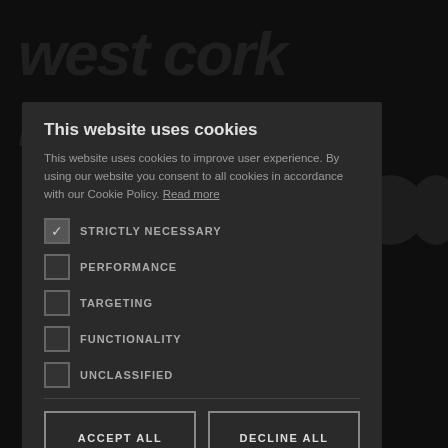[Figure (screenshot): West Cork Music website background with dark overlay and a cookie consent modal dialog]
This website uses cookies
This website uses cookies to improve user experience. By using our website you consent to all cookies in accordance with our Cookie Policy. Read more
STRICTLY NECESSARY (checked)
PERFORMANCE (unchecked)
TARGETING (unchecked)
FUNCTIONALITY (unchecked)
UNCLASSIFIED (unchecked)
ACCEPT ALL
DECLINE ALL
SHOW DETAILS